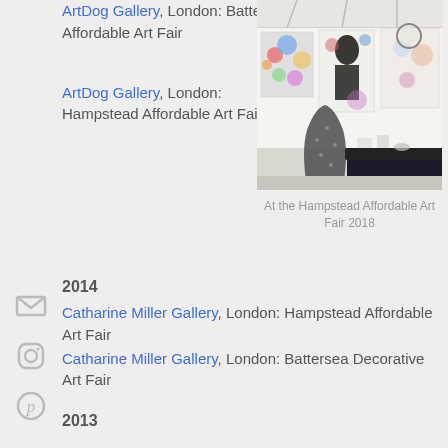ArtDog Gallery, London: Battersea Affordable Art Fair
ArtDog Gallery, London: Hampstead Affordable Art Fair
[Figure (photo): Interior of an art fair booth showing colorful large paintings on white walls, a sculptural vase in the foreground, and a dark table with objects]
At the Hampstead Affordable Art Fair 2018
2014
Catharine Miller Gallery, London: Hampstead Affordable Art Fair
Catharine Miller Gallery, London: Battersea Decorative Art Fair
2013